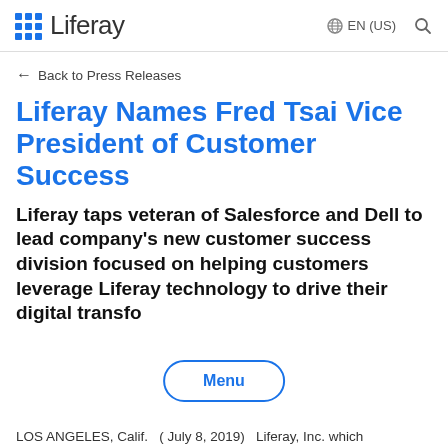Liferay EN (US)
← Back to Press Releases
Liferay Names Fred Tsai Vice President of Customer Success
Liferay taps veteran of Salesforce and Dell to lead company's new customer success division focused on helping customers leverage Liferay technology to drive their digital transfo...
LOS ANGELES, Calif. (July 8, 2019) Liferay, Inc. which